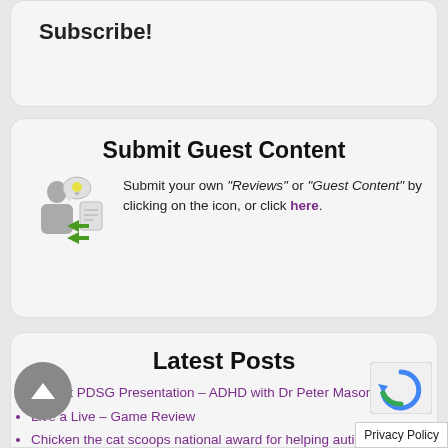Subscribe!
Submit Guest Content
Submit your own "Reviews" or "Guest Content" by clicking on the icon, or click here.
[Figure (illustration): Icon of a person thinking with arrows pointing right to a document, representing submitting content]
Latest Posts
August PDSG Presentation – ADHD with Dr Peter Mason
Live a Live – Game Review
Chicken the cat scoops national award for helping autistic boy – BBC
Loneliness, improving mental health,